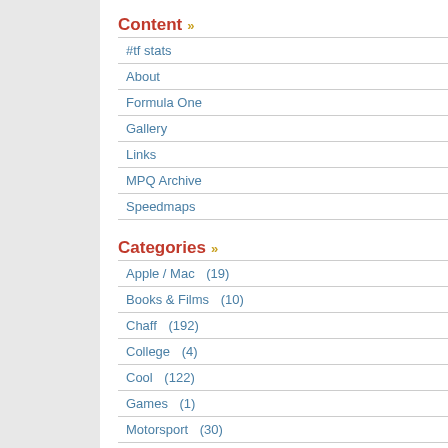Content »
#tf stats
About
Formula One
Gallery
Links
MPQ Archive
Speedmaps
Categories »
Apple / Mac    (19)
Books & Films    (10)
Chaff    (192)
College    (4)
Cool    (122)
Games    (1)
Motorsport    (30)
Quake    (18)
Rants    (57)
Software    (55)
Sport    (4)
Tech    (39)
Recent Comments »